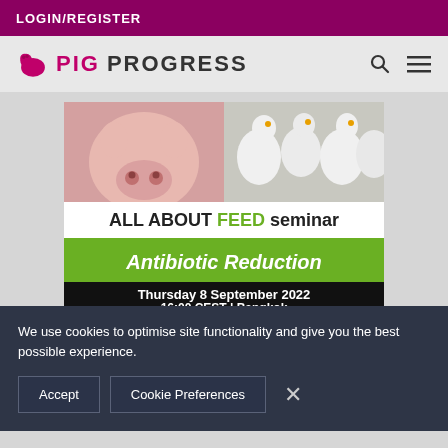LOGIN/REGISTER
[Figure (logo): Pig Progress logo with pig icon in magenta and PROGRESS in dark text]
[Figure (infographic): ALL ABOUT FEED seminar banner showing pig and chickens photos with green Antibiotic Reduction banner and black Thursday 8 September 2022 / 16:00 CEST | Bangkok text]
We use cookies to optimise site functionality and give you the best possible experience.